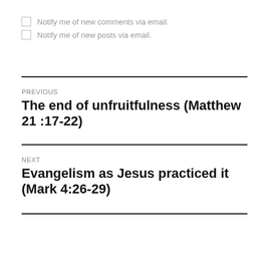Notify me of new comments via email.
Notify me of new posts via email.
PREVIOUS
The end of unfruitfulness (Matthew 21 :17-22)
NEXT
Evangelism as Jesus practiced it (Mark 4:26-29)